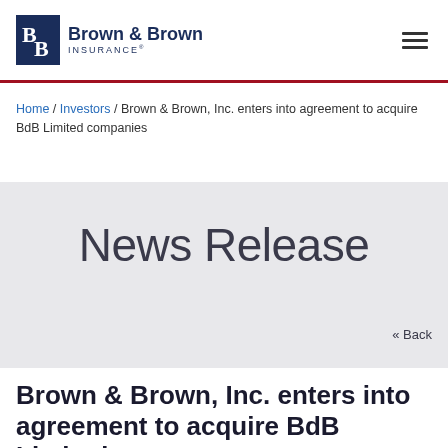Brown & Brown INSURANCE® [logo] [hamburger menu]
Home / Investors / Brown & Brown, Inc. enters into agreement to acquire BdB Limited companies
News Release
« Back
Brown & Brown, Inc. enters into agreement to acquire BdB Limited